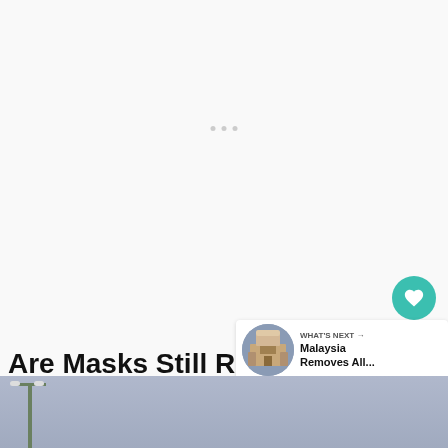[Figure (other): Large blank/white loading area with three small grey dots in the center, typical of a web page loading placeholder]
[Figure (other): Heart (like/save) button — teal circle with white heart icon]
301
[Figure (other): Share button — light grey circle with share/add icon]
Are Masks Still Required In Viet...
[Figure (other): What's Next card showing a thumbnail of Malaysian architecture and headline 'Malaysia Removes All...']
[Figure (photo): Bottom of article image showing a street with lamp post against a grey-blue sky]